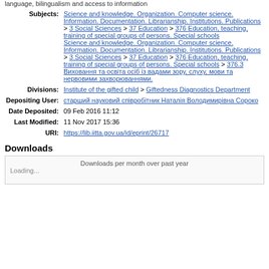language, bilingualism and access to information
Subjects: Science and knowledge. Organization. Computer science. Information. Documentation. Librarianship. Institutions. Publications > 3 Social Sciences > 37 Education > 376 Education, teaching, training of special groups of persons. Special schools
Science and knowledge. Organization. Computer science. Information. Documentation. Librarianship. Institutions. Publications > 3 Social Sciences > 37 Education > 376 Education, teaching, training of special groups of persons. Special schools > 376.3 Виховання та освіта осіб із вадами зору, слуху, мови та нервовими захворюваннями.
Divisions: Institute of the gifted child > Giftedness Diagnostics Department
Depositing User: старший науковий співробітник Наталія Володимирівна Сороко
Date Deposited: 09 Feb 2016 11:12
Last Modified: 11 Nov 2017 15:36
URI: https://lib.iitta.gov.ua/id/eprint/26717
Downloads
Downloads per month over past year
Loading...